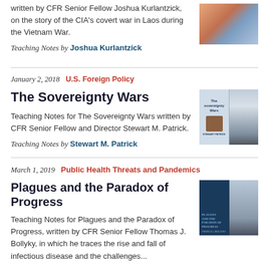written by CFR Senior Fellow Joshua Kurlantzick, on the story of the CIA's covert war in Laos during the Vietnam War.
Teaching Notes by Joshua Kurlantzick
January 2, 2018   U.S. Foreign Policy
The Sovereignty Wars
Teaching Notes for The Sovereignty Wars written by CFR Senior Fellow and Director Stewart M. Patrick.
Teaching Notes by Stewart M. Patrick
March 1, 2019   Public Health Threats and Pandemics
Plagues and the Paradox of Progress
Teaching Notes for Plagues and the Paradox of Progress, written by CFR Senior Fellow Thomas J. Bollyky, in which he traces the rise and fall of infectious disease and the challenges...